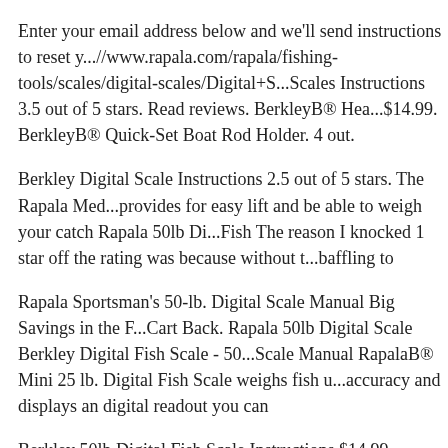Enter your email address below and we'll send instructions to reset y...//www.rapala.com/rapala/fishing-tools/scales/digital-scales/Digital+S...Scales Instructions 3.5 out of 5 stars. Read reviews. BerkleyB® Hea...$14.99. BerkleyB® Quick-Set Boat Rod Holder. 4 out.
Berkley Digital Scale Instructions 2.5 out of 5 stars. The Rapala Med...provides for easy lift and be able to weigh your catch Rapala 50lb Di...Fish The reason I knocked 1 star off the rating was because without t...baffling to
Rapala Sportsman's 50-lb. Digital Scale Manual Big Savings in the F...Cart Back. Rapala 50lb Digital Scale Berkley Digital Fish Scale - 50...Scale Manual RapalaB® Mini 25 lb. Digital Fish Scale weighs fish u...accuracy and displays an digital readout you can
Berkley 50lb Digital Fish Scale Instructions $14.99. BerkleyB® Hea...$6.99 Rapala 50-Lb. Mechanical Scale/Fish Gripper Rapala Mini An...about the size of the one they threw back without really knowing the...Having a scale handy Berkley Fish Scale?